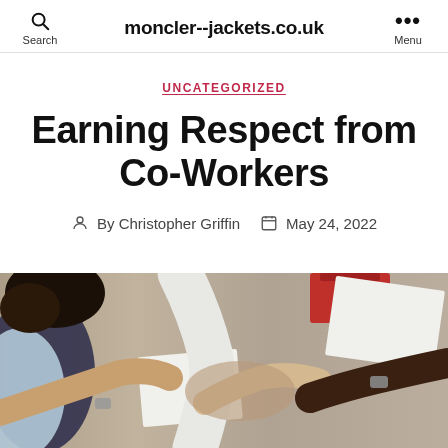moncler--jackets.co.uk | Search | Menu
UNCATEGORIZED
Earning Respect from Co-Workers
By Christopher Griffin  May 24, 2022
[Figure (photo): People around a desk joining hands/fists in a team gesture, viewed from above. People of different ethnicities in business casual attire.]